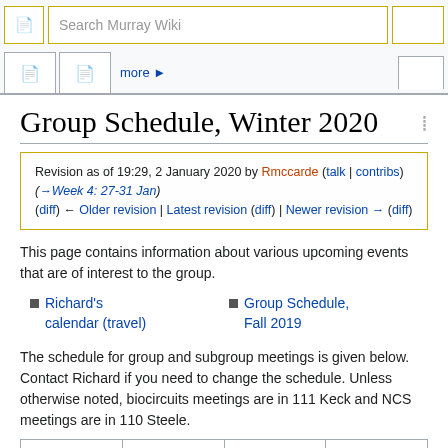Search Murray Wiki
Group Schedule, Winter 2020
Revision as of 19:29, 2 January 2020 by Rmccarde (talk | contribs) (→Week 4: 27-31 Jan)
(diff) ← Older revision | Latest revision (diff) | Newer revision → (diff)
This page contains information about various upcoming events that are of interest to the group.
Richard's calendar (travel)
Group Schedule, Fall 2019
The schedule for group and subgroup meetings is given below. Contact Richard if you need to change the schedule. Unless otherwise noted, biocircuits meetings are in 111 Keck and NCS meetings are in 110 Steele.
| Week 1: 6-10 Jan | Week 2: 13-17 Jan | Week 3: 20-24 Jan | Week 4: 27-31 Jan |
| --- | --- | --- | --- |
| Biocircuits: Tue, | Biocircuits: Tue, | Biocircuits: Tue, | Biocircuits: Tue, |